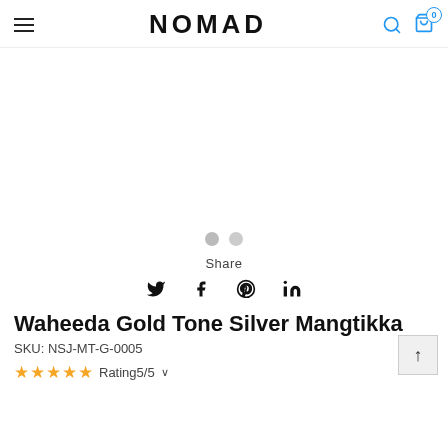NOMAD
[Figure (other): Product image area — blank/loading product photo for Waheeda Gold Tone Silver Mangtikka]
Share
Waheeda Gold Tone Silver Mangtikka
SKU: NSJ-MT-G-0005
Rating5/5